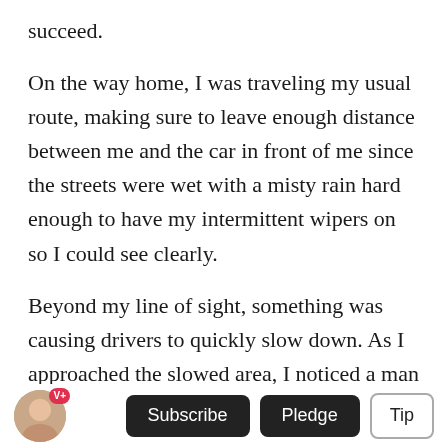succeed.
On the way home, I was traveling my usual route, making sure to leave enough distance between me and the car in front of me since the streets were wet with a misty rain hard enough to have my intermittent wipers on so I could see clearly.
Beyond my line of sight, something was causing drivers to quickly slow down. As I approached the slowed area, I noticed a man laying on the ground, completely prone, face up. His arms and hands were naturally positioned to each of his sides.
V+ Subscribe Pledge Tip